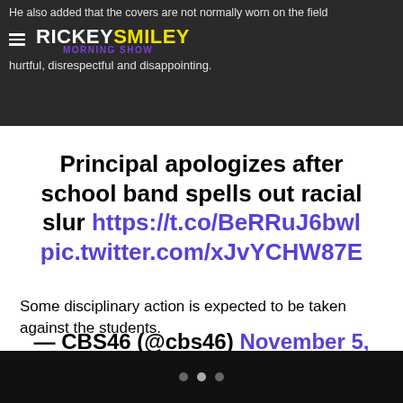He also added that the covers are not normally worn on the field
RICKEY SMILEY MORNING SHOW
hurtful, disrespectful and disappointing.
Principal apologizes after school band spells out racial slur https://t.co/BeRRuJ6bwl pic.twitter.com/xJvYCHW87E
— CBS46 (@cbs46) November 5, 2018
Some disciplinary action is expected to be taken against the students.